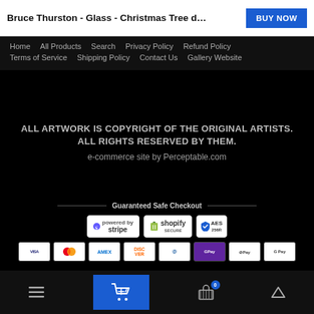Bruce Thurston - Glass - Christmas Tree decora...
Home  All Products  Search  Privacy Policy  Refund Policy  Terms of Service  Shipping Policy  Contact Us  Gallery Website
ALL ARTWORK IS COPYRIGHT OF THE ORIGINAL ARTISTS. ALL RIGHTS RESERVED BY THEM.
e-commerce site by Perceptable.com
[Figure (infographic): Guaranteed Safe Checkout section with Stripe, Shopify Secure, AES 256R badges, and payment method icons: Visa, Mastercard, Amex, Discover, Diners Club, GPay, Apple Pay, Google Pay]
Navigation toolbar with hamburger menu, cart button (highlighted blue), basket with badge 0, and up arrow